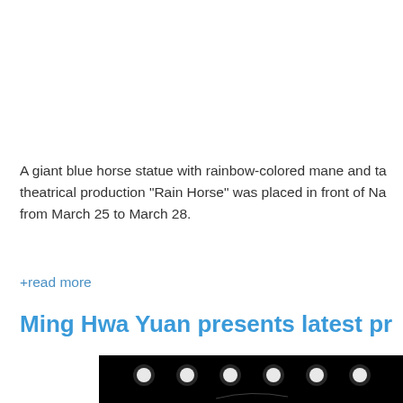A giant blue horse statue with rainbow-colored mane and ta theatrical production "Rain Horse" was placed in front of Na from March 25 to March 28.
+read more
Ming Hwa Yuan presents latest pr
[Figure (photo): Dark stage photo showing a row of bright white/blue stage spotlights against a black background, with a faint performer or element visible at the bottom.]